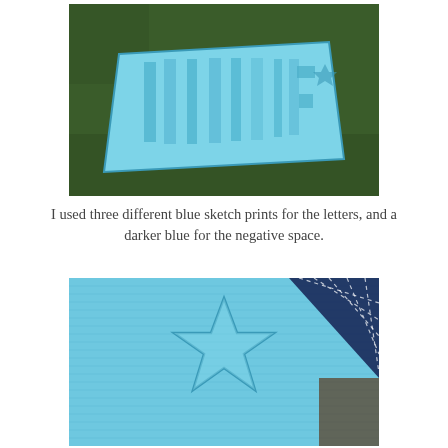[Figure (photo): A blue patchwork quilt or fabric piece laid out on green grass, with letters visible in varying shades of blue fabric.]
I used three different blue sketch prints for the letters, and a darker blue for the negative space.
[Figure (photo): Close-up of a blue fabric with a star shape stitched or appliquéd onto it, with a darker blue border fabric visible in the corner.]